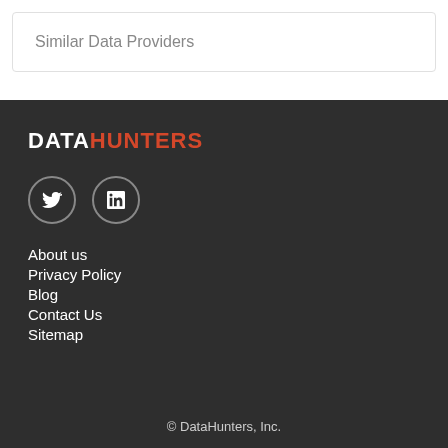Similar Data Providers
[Figure (logo): DataHunters logo with DATA in white bold and HUNTERS in red/orange bold text]
[Figure (infographic): Two circular social media icons: Twitter (bird) and LinkedIn (in)]
About us
Privacy Policy
Blog
Contact Us
Sitemap
© DataHunters, Inc.